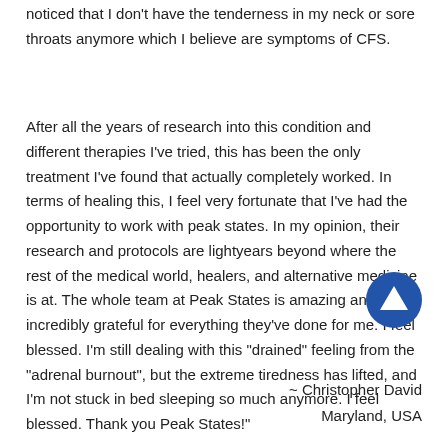noticed that I don't have the tenderness in my neck or sore throats anymore which I believe are symptoms of CFS.
After all the years of research into this condition and different therapies I've tried, this has been the only treatment I've found that actually completely worked. In terms of healing this, I feel very fortunate that I've had the opportunity to work with peak states. In my opinion, their research and protocols are lightyears beyond where the rest of the medical world, healers, and alternative medicine is at. The whole team at Peak States is amazing and I'm incredibly grateful for everything they've done for me. I feel blessed. I'm still dealing with this "drained" feeling from the "adrenal burnout", but the extreme tiredness has lifted, and I'm not stuck in bed sleeping so much anymore. I feel blessed. Thank you Peak States!"
~ Christopher David
Maryland, USA